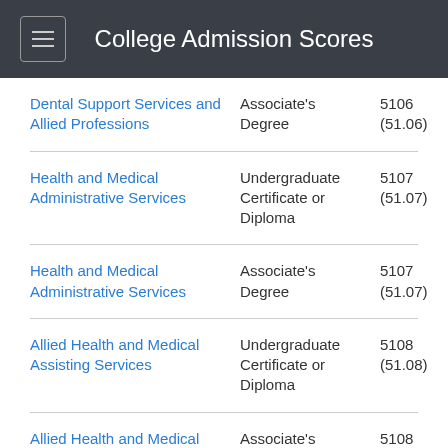College Admission Scores
| Program | Degree Type | Code |
| --- | --- | --- |
| Dental Support Services and Allied Professions | Associate's Degree | 5106 (51.06) |
| Health and Medical Administrative Services | Undergraduate Certificate or Diploma | 5107 (51.07) |
| Health and Medical Administrative Services | Associate's Degree | 5107 (51.07) |
| Allied Health and Medical Assisting Services | Undergraduate Certificate or Diploma | 5108 (51.08) |
| Allied Health and Medical Assisting Services | Associate's Degree | 5108 (51.08) |